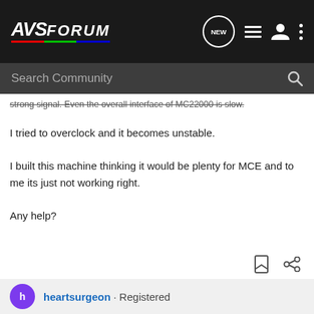[Figure (logo): AVSForum logo with colored underline on dark navbar with nav icons]
Search Community
strong signal. Even the overall interface of MC22000 is slow.
I tried to overclock and it becomes unstable.
I built this machine thinking it would be plenty for MCE and to me its just not working right.
Any help?
heartsurgeon · Registered